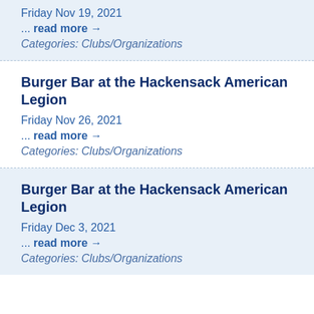Friday Nov 19, 2021
... read more →
Categories: Clubs/Organizations
Burger Bar at the Hackensack American Legion
Friday Nov 26, 2021
... read more →
Categories: Clubs/Organizations
Burger Bar at the Hackensack American Legion
Friday Dec 3, 2021
... read more →
Categories: Clubs/Organizations